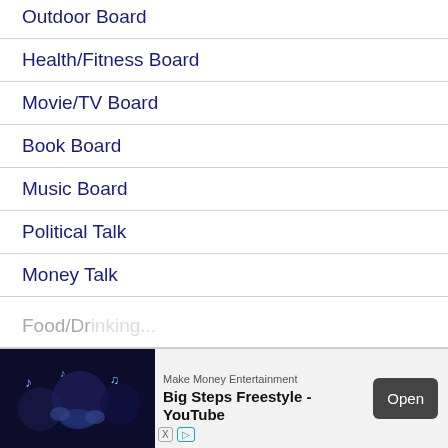Outdoor Board
Health/Fitness Board
Movie/TV Board
Book Board
Music Board
Political Talk
Money Talk
Fark Board
Gaming Board
Travel Board
Food/Dr...
[Figure (infographic): Advertisement banner: Make Money Entertainment - Big Steps Freestyle - YouTube, with Open button]